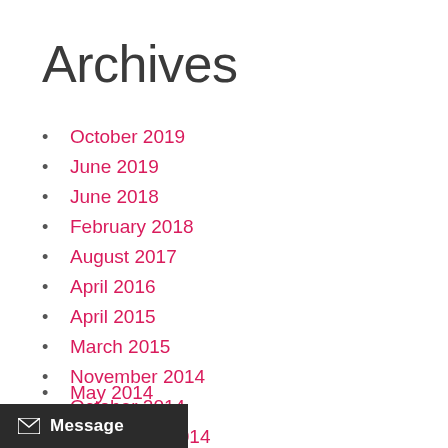Archives
October 2019
June 2019
June 2018
February 2018
August 2017
April 2016
April 2015
March 2015
November 2014
October 2014
September 2014
August 2014
July 2014
May 2014